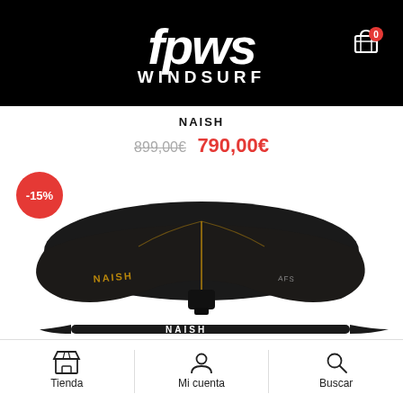IPWS WINDSURF
NAISH
899,00€  790,00€
[Figure (photo): Naish windsurf foil front wing and fuselage product photo on white background, with -15% discount badge]
Tienda   Mi cuenta   Buscar